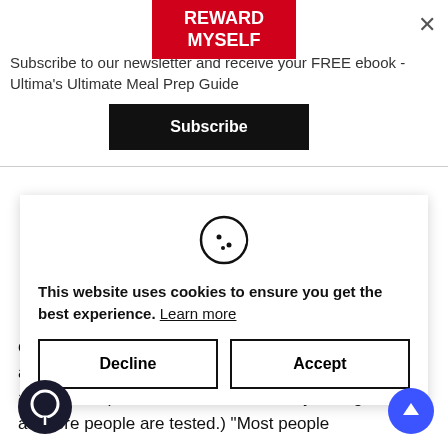[Figure (screenshot): Red 'REWARD MYSELF' button at top center of newsletter popup]
Subscribe to our newsletter and receive your FREE ebook - Ultima's Ultimate Meal Prep Guide
[Figure (screenshot): Black 'Subscribe' button]
With doctors still determining the full breadth of COVID-19 symptoms. The clearest signs of the disease appear to be fever, dry cough and some other symptoms although they are less common also appear to include headache, sore throat, abdominal pain and diarrhea. And just like the flu, COVID-19 can cause respiratory issues that can lead to serious problems, such as pneumonia.
[Figure (illustration): Cookie icon (circle with bite taken out and dots)]
This website uses cookies to ensure you get the best experience. Learn more
[Figure (screenshot): Decline button (outlined)]
[Figure (screenshot): Accept button (outlined)]
ous problems, such as pneumonia.  The ality rate of the coronavirus so far is around 2% (this number will most likely change as more people are tested.) "Most people
[Figure (illustration): Dark circular chat widget icon bottom left]
[Figure (illustration): Blue circle scroll-to-top arrow button bottom right]